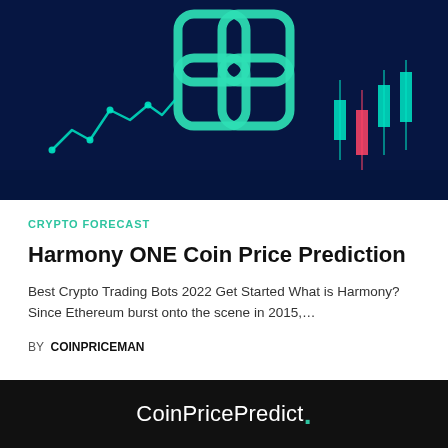[Figure (photo): Dark blue background with glowing teal Harmony ONE logo (two overlapping rounded square outlines), teal line chart on left, red/teal candlestick chart on right]
CRYPTO FORECAST
Harmony ONE Coin Price Prediction
Best Crypto Trading Bots 2022 Get Started What is Harmony? Since Ethereum burst onto the scene in 2015,…
BY COINPRICEMAN
CoinPricePredict.